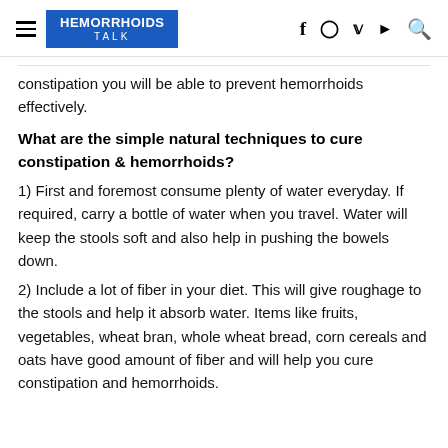HEMORRHOIDS TALK
constipation you will be able to prevent hemorrhoids effectively.
What are the simple natural techniques to cure constipation & hemorrhoids?
1) First and foremost consume plenty of water everyday. If required, carry a bottle of water when you travel. Water will keep the stools soft and also help in pushing the bowels down.
2) Include a lot of fiber in your diet. This will give roughage to the stools and help it absorb water. Items like fruits, vegetables, wheat bran, whole wheat bread, corn cereals and oats have good amount of fiber and will help you cure constipation and hemorrhoids.